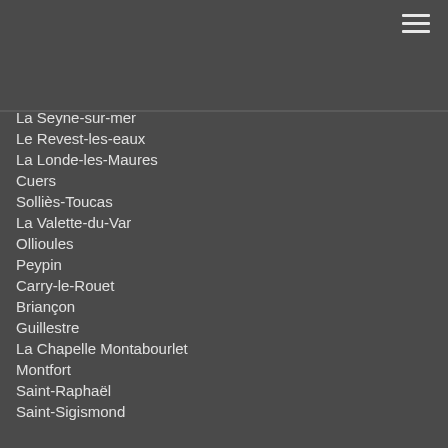La Seyne-sur-mer
Le Revest-les-eaux
La Londe-les-Maures
Cuers
Solliès-Toucas
La Valette-du-Var
Ollioules
Peypin
Carry-le-Rouet
Briançon
Guillestre
La Chapelle Montabourlet
Montfort
Saint-Raphaël
Saint-Sigismond
Contact
Contact us for a personal consultation before booking your stay.